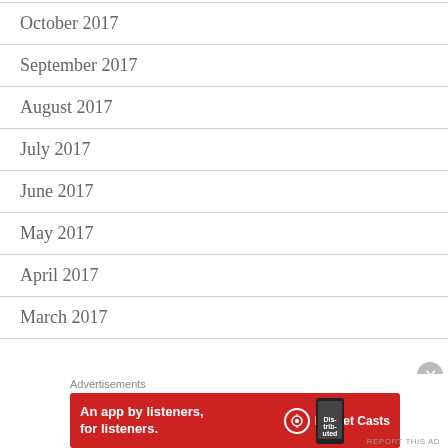October 2017
September 2017
August 2017
July 2017
June 2017
May 2017
April 2017
March 2017
[Figure (illustration): Pocket Casts advertisement banner: red background with text 'An app by listeners, for listeners.' and Pocket Casts logo with phone graphic]
REPORT THIS AD